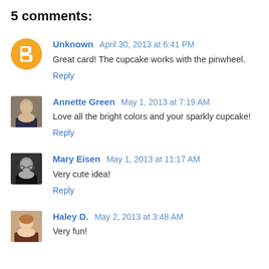5 comments:
Unknown April 30, 2013 at 6:41 PM
Great card! The cupcake works with the pinwheel.
Reply
Annette Green May 1, 2013 at 7:19 AM
Love all the bright colors and your sparkly cupcake!
Reply
Mary Eisen May 1, 2013 at 11:17 AM
Very cute idea!
Reply
Haley D. May 2, 2013 at 3:48 AM
Very fun!